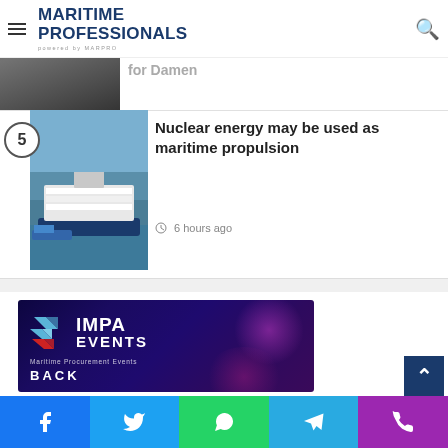MARITIME PROFESSIONALS powered by MARPRO
[Figure (photo): Partial view of article 4 with dark image (ships/event) and partial headline mentioning Damen]
for Damen
[Figure (photo): River cruise ship aerial view for article 5 about nuclear energy maritime propulsion]
Nuclear energy may be used as maritime propulsion
6 hours ago
[Figure (logo): IMPA EVENTS - Maritime Procurement Events banner advertisement with BACK text]
Social share bar: Facebook, Twitter, WhatsApp, Telegram, Phone